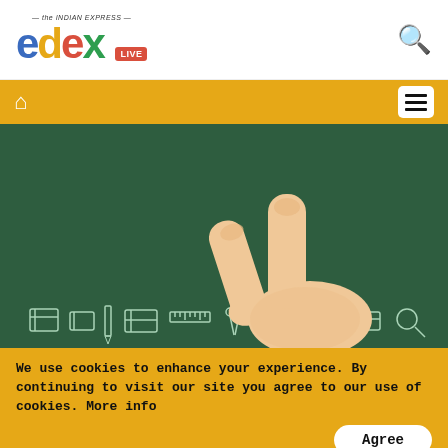[Figure (logo): edexLIVE logo with Indian Express branding and search icon]
[Figure (illustration): Navigation bar with home icon and hamburger menu on orange background]
[Figure (photo): Illustration of a hand showing two fingers (peace sign) against a green chalkboard background with school supply doodles]
We use cookies to enhance your experience. By continuing to visit our site you agree to our use of cookies. More info
Agree